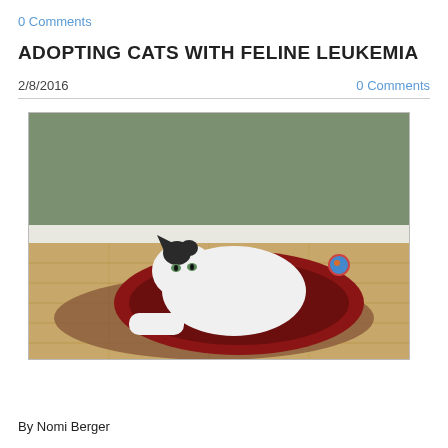0 Comments
ADOPTING CATS WITH FELINE LEUKEMIA
2/8/2016
0 Comments
[Figure (photo): A black and white cat sitting on a dark red plush pet bed placed on a brown mat on a hardwood floor, with a small colorful toy visible in the upper right of the bed. The background shows a wall with white baseboard.]
By Nomi Berger